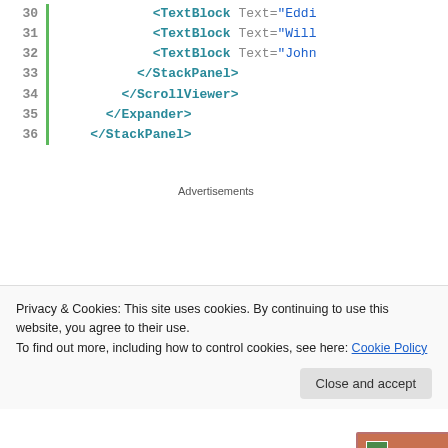[Figure (screenshot): Code editor showing XML/XAML lines 30-36 with line numbers and green indicator bar, with closing tags for TextBlock, StackPanel, ScrollViewer, Expander, and StackPanel elements]
Advertisements
[Figure (screenshot): Windows Expander UI control window showing 'Great Novels' expandable section with 'Ulvsses' list item and scrollbar]
Privacy & Cookies: This site uses cookies. By continuing to use this website, you agree to their use.
To find out more, including how to control cookies, see here: Cookie Policy
Close and accept